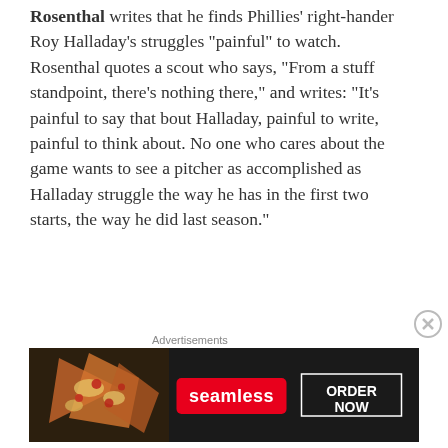Rosenthal writes that he finds Phillies' right-hander Roy Halladay's struggles "painful" to watch. Rosenthal quotes a scout who says, "From a stuff standpoint, there's nothing there," and writes: "It's painful to say that bout Halladay, painful to write, painful to think about. No one who cares about the game wants to see a pitcher as accomplished as Halladay struggle the way he has in the first two starts, the way he did last season."
CRUZ PREDICTS FABER AND TATE VICTORIES AT THE ULTIMATE FIGHTER 17 FINALE – FUEL TV televises three shows
[Figure (other): Seamless food delivery advertisement banner showing pizza image on left, Seamless red logo in center, and ORDER NOW button on right, on dark background]